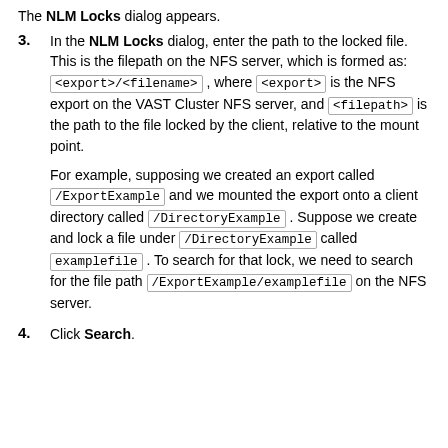The NLM Locks dialog appears.
3. In the NLM Locks dialog, enter the path to the locked file. This is the filepath on the NFS server, which is formed as: <export>/<filename> , where <export> is the NFS export on the VAST Cluster NFS server, and <filepath> is the path to the file locked by the client, relative to the mount point.
For example, supposing we created an export called /ExportExample and we mounted the export onto a client directory called /DirectoryExample . Suppose we create and lock a file under /DirectoryExample called examplefile . To search for that lock, we need to search for the file path /ExportExample/examplefile on the NFS server.
4. Click Search.